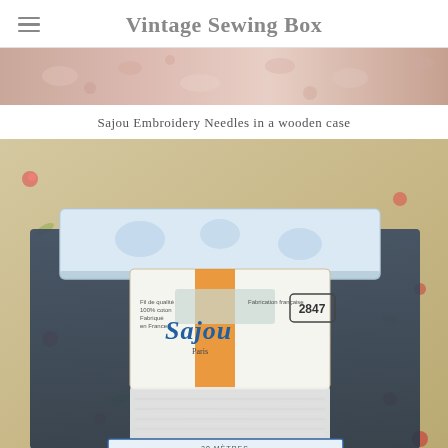Vintage Sewing Box
[Figure (photo): Top banner photo showing a floral/botanical wallpaper or fabric with pink and cream tones]
Sajou Embroidery Needles in a wooden case
[Figure (photo): Close-up photo of a Sajou branded embroidery needles box and thread on a floral fabric background. Shows a blue toile-patterned needle case, a Sajou branded card with number 2847, and a spool of white Retors du Nord cross-stitch thread.]